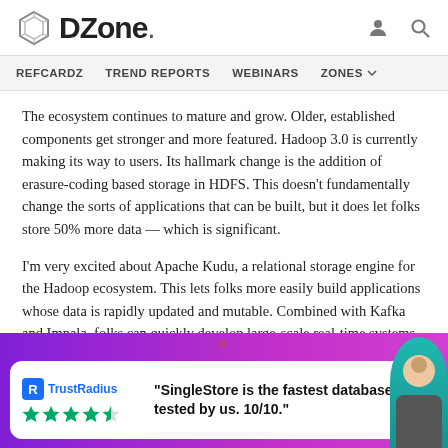DZone. [logo]
REFCARDZ  TREND REPORTS  WEBINARS  ZONES
The ecosystem continues to mature and grow. Older, established components get stronger and more featured. Hadoop 3.0 is currently making its way to users. Its hallmark change is the addition of erasure-coding based storage in HDFS. This doesn't fundamentally change the sorts of applications that can be built, but it does let folks store 50% more data — which is significant.
I'm very excited about Apache Kudu, a relational storage engine for the Hadoop ecosystem. This lets folks more easily build applications whose data is rapidly updated and mutable. Combined with Kafka and Impala, folks can quickly develop large-scale real-time systems, queryable with SQL. This works well for IoT applications where lots of devices might be str...
[Figure (other): TrustRadius advertisement overlay: white card with TrustRadius logo and star rating, quote text '"SingleStore is the fastest database ever tested by us. 10/10."', purple/magenta gradient background, person photo on right edge. X close button above card.]
As... nu... open-source. This newfound success of machine learning methods in so...